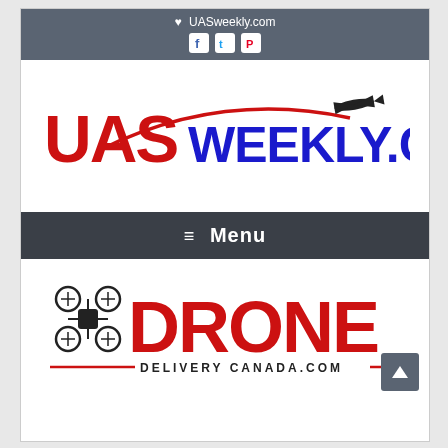♥ UASweekly.com
[Figure (logo): UASweekly.com logo with red UAS text, blue WEEKLY.COM text, red swoosh line, and black drone silhouette]
≡ Menu
[Figure (logo): Drone Delivery Canada.com logo with drone icon and bold red DRONE text, DELIVERY CANADA.COM subtitle]